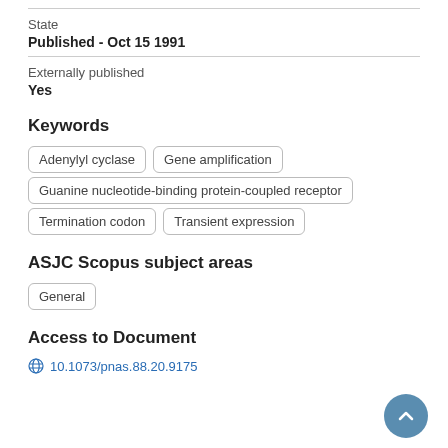State
Published - Oct 15 1991
Externally published
Yes
Keywords
Adenylyl cyclase
Gene amplification
Guanine nucleotide-binding protein-coupled receptor
Termination codon
Transient expression
ASJC Scopus subject areas
General
Access to Document
10.1073/pnas.88.20.9175